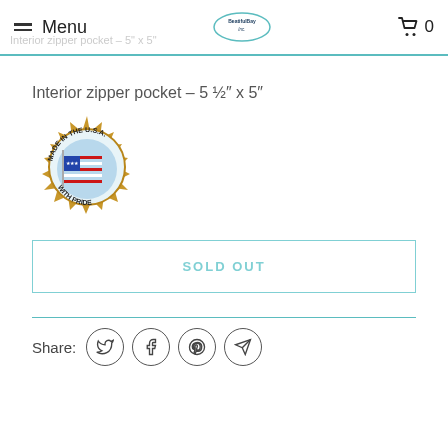Menu | BeatifulBayInc. Logo | Cart 0
Interior zipper pocket – 5 ½" x 5"
[Figure (illustration): Round gold seal badge reading 'Made in the U.S.A. with Pride' featuring an American flag in the center]
SOLD OUT
Share:
[Figure (infographic): Social share icons: Twitter, Facebook, Pinterest, and a send/share arrow icon, each in a circle]